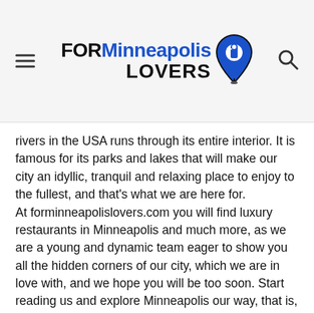FOR Minneapolis LOVERS
rivers in the USA runs through its entire interior. It is famous for its parks and lakes that will make our city an idyllic, tranquil and relaxing place to enjoy to the fullest, and that's what we are here for. At forminneapolislovers.com you will find luxury restaurants in Minneapolis and much more, as we are a young and dynamic team eager to show you all the hidden corners of our city, which we are in love with, and we hope you will be too soon. Start reading us and explore Minneapolis our way, that is, through explanatory posts that will make it easier for you to understand the day to day life in our city, with forminneapolislovers.com everything will be much easier for you.